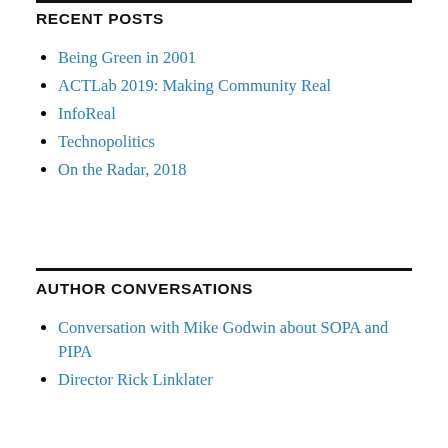RECENT POSTS
Being Green in 2001
ACTLab 2019: Making Community Real
InfoReal
Technopolitics
On the Radar, 2018
AUTHOR CONVERSATIONS
Conversation with Mike Godwin about SOPA and PIPA
Director Rick Linklater